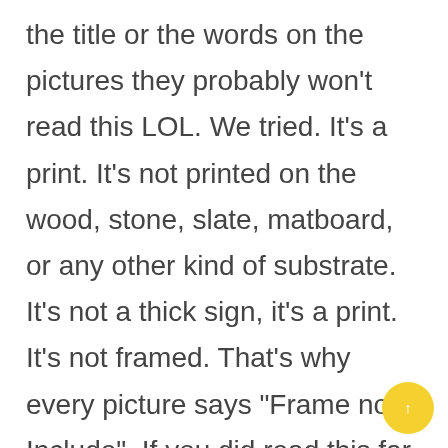the title or the words on the pictures they probably won't read this LOL. We tried. It's a print. It's not printed on the wood, stone, slate, matboard, or any other kind of substrate. It's not a thick sign, it's a print. It's not framed. That's why every picture says "Frame not Include". If you did read this far, Thank You
MAKES A GREAT GIFT - My huge portfolio makes it easy to find the perfect gift for the people you care about. Friends love to get them for Birthdays, Christmas, Hanukkah,